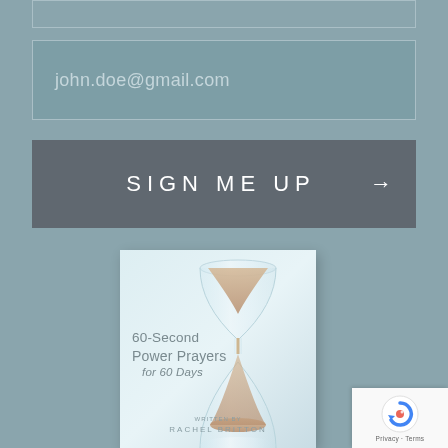john.doe@gmail.com
SIGN ME UP →
[Figure (photo): Book cover of '60-Second Power Prayers for 60 Days' by Rachel Britton, featuring an hourglass on a light blue-grey background]
[Figure (logo): reCAPTCHA badge with circular arrow icon and 'Privacy - Terms' text]